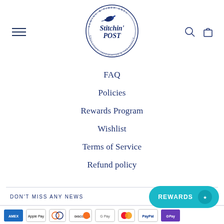[Figure (logo): Stitchin' Post sewing and fiber arts circular logo with a hummingbird, circle text reads 'Sewing & Fiber Arts', 'Education, Inspiration & Creativity']
FAQ
Policies
Rewards Program
Wishlist
Terms of Service
Refund policy
DON'T MISS ANY NEWS
[Figure (logo): Payment method logos: American Express, Apple Pay, Diners Club, Discover, Google Pay, Mastercard, PayPal, Shop Pay]
REWARDS